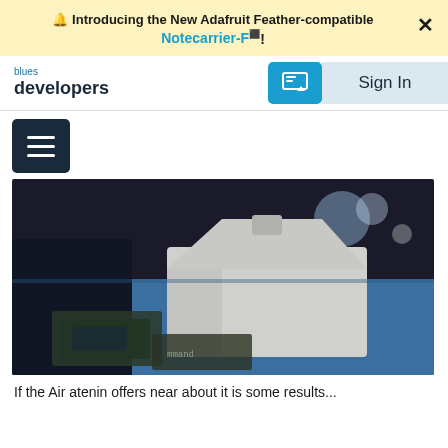🔔 Introducing the New Adafruit Feather-compatible Notecarrier-F!
blues developers | Sign In
[Figure (photo): Photo of a white/silver metallic enclosure or housing device sitting on a blue surface, with circuit boards visible nearby, on a dark background.]
If the Air attenin offers near about it is...